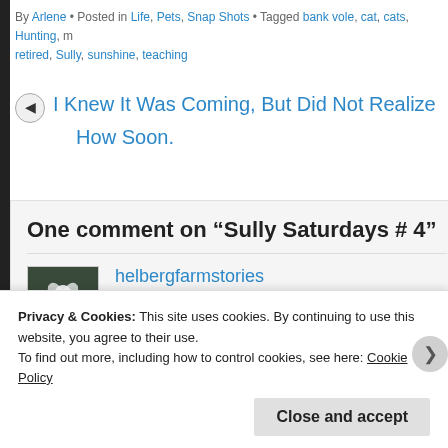By Arlene • Posted in Life, Pets, Snap Shots • Tagged bank vole, cat, cats, Hunting, m retired, Sully, sunshine, teaching
I Knew It Was Coming, But Did Not Realize How Soon.
One comment on "Sully Saturdays # 4"
helbergfarmstories
DECEMBER 5, 2015 @ 1:31 PM
Very nice ode to a kitty! I love them too!!
Privacy & Cookies: This site uses cookies. By continuing to use this website, you agree to their use.
To find out more, including how to control cookies, see here: Cookie Policy
Close and accept